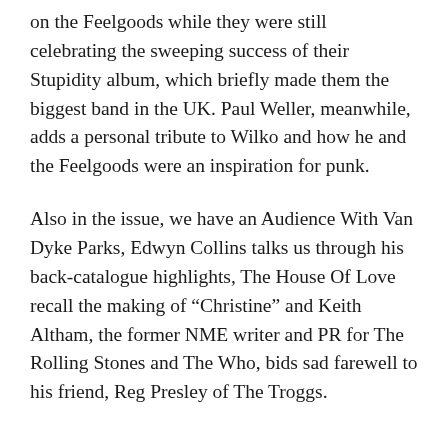on the Feelgoods while they were still celebrating the sweeping success of their Stupidity album, which briefly made them the biggest band in the UK. Paul Weller, meanwhile, adds a personal tribute to Wilko and how he and the Feelgoods were an inspiration for punk.
Also in the issue, we have an Audience With Van Dyke Parks, Edwyn Collins talks us through his back-catalogue highlights, The House Of Love recall the making of “Christine” and Keith Altham, the former NME writer and PR for The Rolling Stones and The Who, bids sad farewell to his friend, Reg Presley of The Troggs.